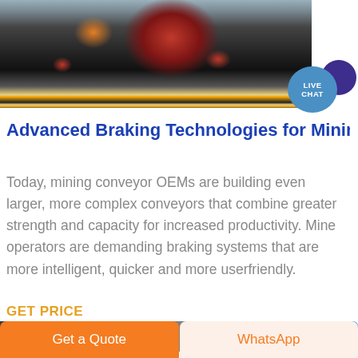[Figure (photo): Industrial mining conveyor or crusher machinery photographed in a warehouse/industrial facility. Heavy black machinery with red circular components and yellow-black hazard warning stripes at base.]
[Figure (other): Live Chat button badge — teal circle with 'LIVE CHAT' text and a dark purple speech bubble icon.]
Advanced Braking Technologies for Mining C
Today, mining conveyor OEMs are building even larger, more complex conveyors that combine greater strength and capacity for increased productivity. Mine operators are demanding braking systems that are more intelligent, quicker and more userfriendly.
GET PRICE
[Figure (photo): Partial view of a second industrial/mining machinery photograph at the bottom of the page, partially cut off.]
Get a Quote
WhatsApp